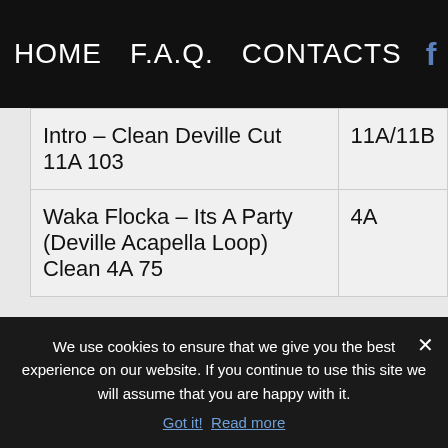HOME   F.A.Q.   CONTACTS   f
| Track | Key |
| --- | --- |
| Intro – Clean Deville Cut 11A 103 | 11A/11B |
| Waka Flocka – Its A Party (Deville Acapella Loop) Clean 4A 75 | 4A |
We use cookies to ensure that we give you the best experience on our website. If you continue to use this site we will assume that you are happy with it.
Got it!  Read more